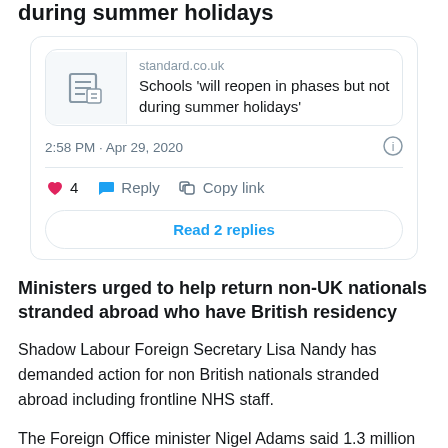during summer holidays
[Figure (screenshot): Tweet card with link preview to standard.co.uk article: 'Schools will reopen in phases but not during summer holidays'. Timestamp: 2:58 PM · Apr 29, 2020. Actions: 4 likes, Reply, Copy link. Read 2 replies button.]
Ministers urged to help return non-UK nationals stranded abroad who have British residency
Shadow Labour Foreign Secretary Lisa Nandy has demanded action for non British nationals stranded abroad including frontline NHS staff.
The Foreign Office minister Nigel Adams said 1.3 million